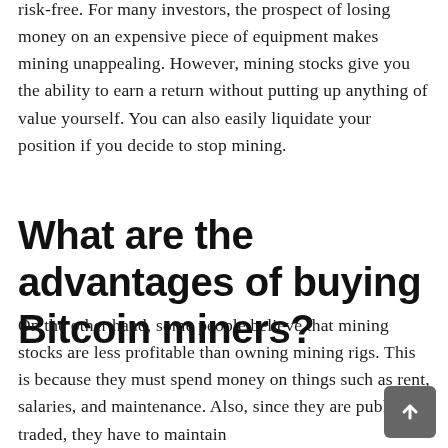risk-free. For many investors, the prospect of losing money on an expensive piece of equipment makes mining unappealing. However, mining stocks give you the ability to earn a return without putting up anything of value yourself. You can also easily liquidate your position if you decide to stop mining.
What are the advantages of buying Bitcoin miners?
On the other hand, some people believe that mining stocks are less profitable than owning mining rigs. This is because they must spend money on things such as rent, salaries, and maintenance. Also, since they are publicly traded, they have to maintain